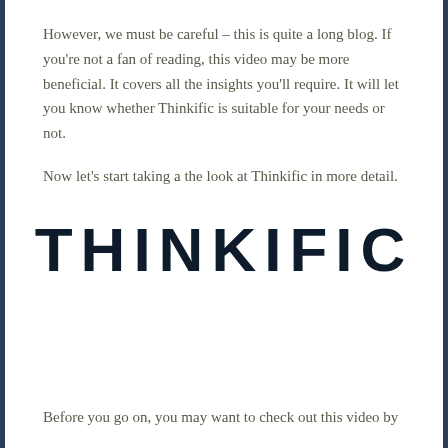However, we must be careful – this is quite a long blog. If you're not a fan of reading, this video may be more beneficial. It covers all the insights you'll require. It will let you know whether Thinkific is suitable for your needs or not.
Now let's start taking a the look at Thinkific in more detail.
[Figure (logo): Thinkific logo in large bold dark navy uppercase letters]
Before you go on, you may want to check out this video by